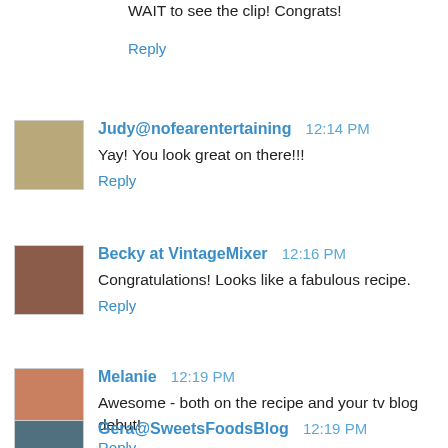WAIT to see the clip! Congrats!
Reply
Judy@nofearentertaining  12:14 PM
Yay! You look great on there!!!
Reply
Becky at VintageMixer  12:16 PM
Congratulations! Looks like a fabulous recipe.
Reply
Melanie  12:19 PM
Awesome - both on the recipe and your tv blog debut!
Reply
Gera@SweetsFoodsBlog  12:19 PM